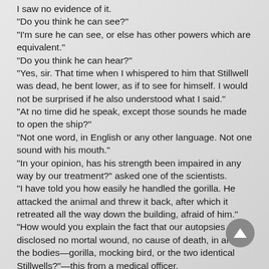I saw no evidence of it.
"Do you think he can see?"
"I'm sure he can see, or else has other powers which are equivalent."
"Do you think he can hear?"
"Yes, sir. That time when I whispered to him that Stillwell was dead, he bent lower, as if to see for himself. I would not be surprised if he also understood what I said."
"At no time did he speak, except those sounds he made to open the ship?"
"Not one word, in English or any other language. Not one sound with his mouth."
"In your opinion, has his strength been impaired in any way by our treatment?" asked one of the scientists.
"I have told you how easily he handled the gorilla. He attacked the animal and threw it back, after which it retreated all the way down the building, afraid of him."
"How would you explain the fact that our autopsies disclosed no mortal wound, no cause of death, in any of the bodies—gorilla, mocking bird, or the two identical Stillwells?"—this from a medical officer.
"I can't."
"You think Gnut is dangerous?—from Sanders.
[Figure (other): Gray circular scroll-up button with upward-pointing triangle arrow, positioned at bottom right of page]